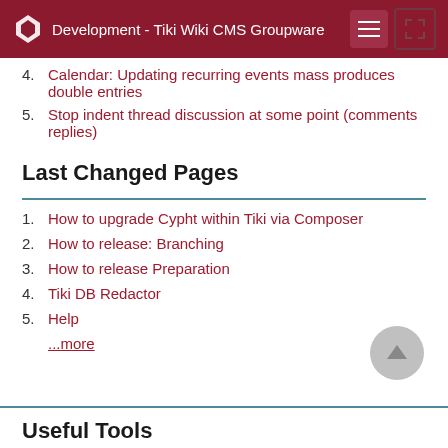Development - Tiki Wiki CMS Groupware
4. Calendar: Updating recurring events mass produces double entries
5. Stop indent thread discussion at some point (comments replies)
Last Changed Pages
1. How to upgrade Cypht within Tiki via Composer
2. How to release: Branching
3. How to release Preparation
4. Tiki DB Redactor
5. Help
...more
Useful Tools